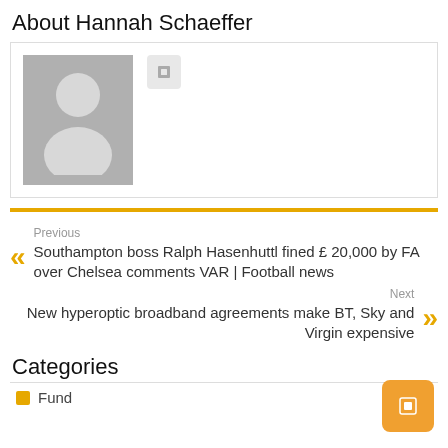About Hannah Schaeffer
[Figure (photo): Generic avatar placeholder image with grey background showing a silhouette of a person, with a small icon button next to it]
Previous
Southampton boss Ralph Hasenhuttl fined £ 20,000 by FA over Chelsea comments VAR | Football news
Next
New hyperoptic broadband agreements make BT, Sky and Virgin expensive
Categories
Fund